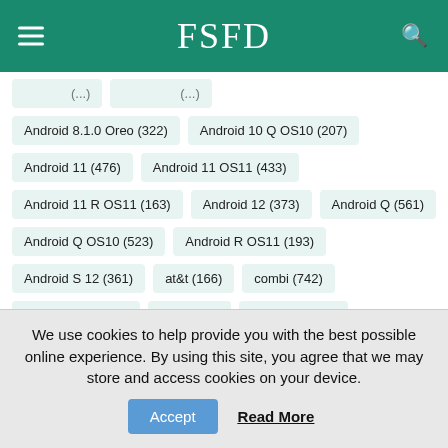FSFD
Android 8.1.0 Oreo (322)
Android 10 Q OS10 (207)
Android 11 (476)
Android 11 OS11 (433)
Android 11 R OS11 (163)
Android 12 (373)
Android Q (561)
Android Q OS10 (523)
Android R OS11 (193)
Android S 12 (361)
at&t (166)
combi (742)
combination (840)
EFS (289)
eng boot (396)
eng sboot (390)
frp bypass (812)
frp done (842)
frp fix (700)
frp removal (813)
frp remove (786)
full 4 files (1560)
full factory (1426)
full files (1328)
We use cookies to help provide you with the best possible online experience. By using this site, you agree that we may store and access cookies on your device.